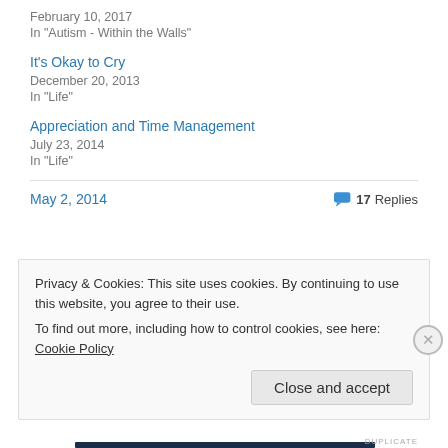February 10, 2017
In "Autism - Within the Walls"
It's Okay to Cry
December 20, 2013
In "Life"
Appreciation and Time Management
July 23, 2014
In "Life"
May 2, 2014
17 Replies
Privacy & Cookies: This site uses cookies. By continuing to use this website, you agree to their use.
To find out more, including how to control cookies, see here: Cookie Policy
Close and accept